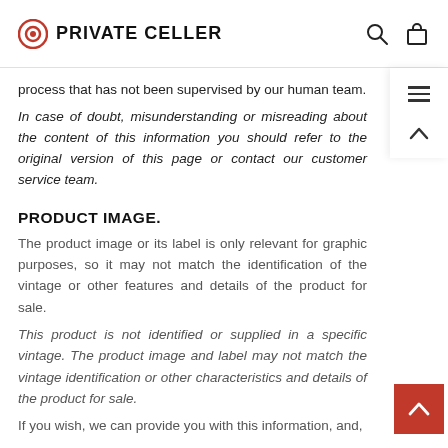PRIVATE CELLER
process that has not been supervised by our human team.
In case of doubt, misunderstanding or misreading about the content of this information you should refer to the original version of this page or contact our customer service team.
PRODUCT IMAGE.
The product image or its label is only relevant for graphic purposes, so it may not match the identification of the vintage or other features and details of the product for sale.
This product is not identified or supplied in a specific vintage. The product image and label may not match the vintage identification or other characteristics and details of the product for sale.
If you wish, we can provide you with this information, and,